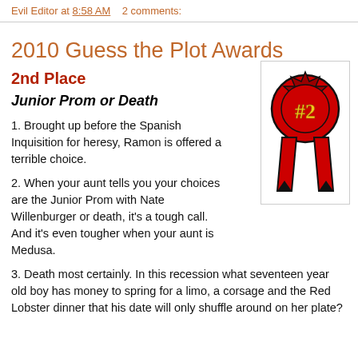Evil Editor at 8:58 AM    2 comments:
2010 Guess the Plot Awards
2nd Place
Junior Prom or Death
[Figure (illustration): Red #2 award ribbon illustration]
1. Brought up before the Spanish Inquisition for heresy, Ramon is offered a terrible choice.
2. When your aunt tells you your choices are the Junior Prom with Nate Willenburger or death, it's a tough call. And it's even tougher when your aunt is Medusa.
3. Death most certainly. In this recession what seventeen year old boy has money to spring for a limo, a corsage and the Red Lobster dinner that his date will only shuffle around on her plate?